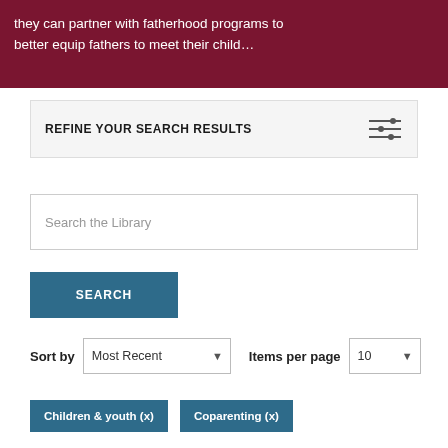[Figure (photo): Dark red/maroon background banner with white text reading 'they can partner with fatherhood programs to better equip fathers to meet their child…']
they can partner with fatherhood programs to better equip fathers to meet their child…
REFINE YOUR SEARCH RESULTS
Search the Library
SEARCH
Sort by   Most Recent   Items per page   10
Children & youth (x)
Coparenting (x)